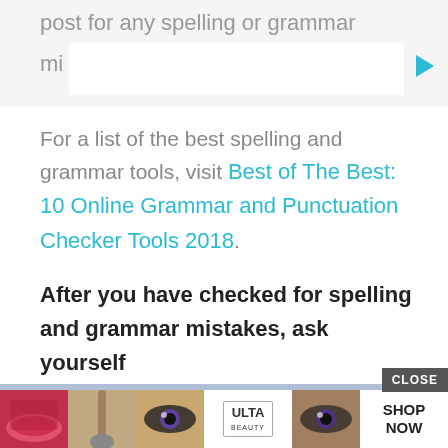post for any spelling or grammar mi
For a list of the best spelling and grammar tools, visit Best of The Best: 10 Online Grammar and Punctuation Checker Tools 2018.
After you have checked for spelling and grammar mistakes, ask yourself th...
[Figure (screenshot): Advertisement banner showing ULTA beauty products with 'CLOSE' button and 'SHOP NOW' call to action]